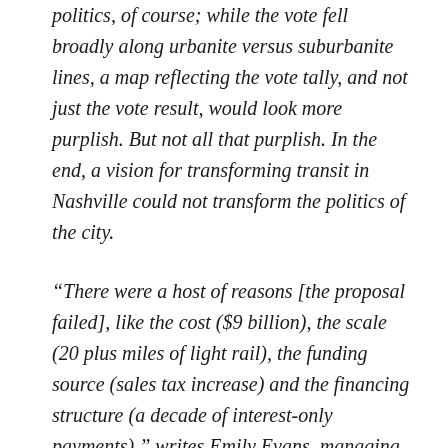politics, of course; while the vote fell broadly along urbanite versus suburbanite lines, a map reflecting the vote tally, and not just the vote result, would look more purplish. But not all that purplish. In the end, a vision for transforming transit in Nashville could not transform the politics of the city.
“There were a host of reasons [the proposal failed], like the cost ($9 billion), the scale (20 plus miles of light rail), the funding source (sales tax increase) and the financing structure (a decade of interest-only payments),” writes Emily Evans, managing director for healthcare